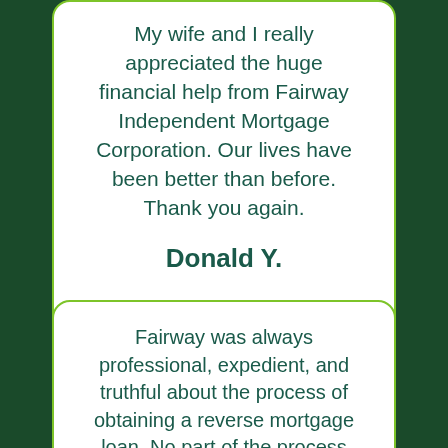My wife and I really appreciated the huge financial help from Fairway Independent Mortgage Corporation. Our lives have been better than before. Thank you again.
Donald Y.
Fairway was always professional, expedient, and truthful about the process of obtaining a reverse mortgage loan. No part of the process was concealed or confusing. It was a pleasure to work with Fairway and its representative.